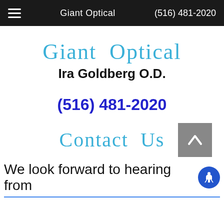Giant Optical  (516) 481-2020
Giant Optical
Ira Goldberg O.D.
(516) 481-2020
Contact Us
We look forward to hearing from you